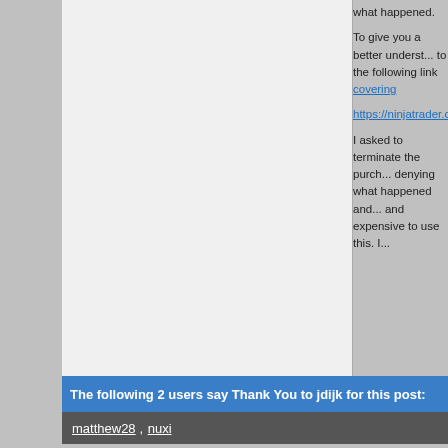what happened.

To give you a better understanding, to the following link covering

https://ninjatrader.com/supp

I asked to terminate the purchase. denying what happened and and expensive to use this. I...
The following 2 users say Thank You to jdijk for this post:
matthew28, nuxi
(login for full post details)
manishzain
east brunswick

Posts: 11 since Jul 2017
Thanks: 0 given, 6 received